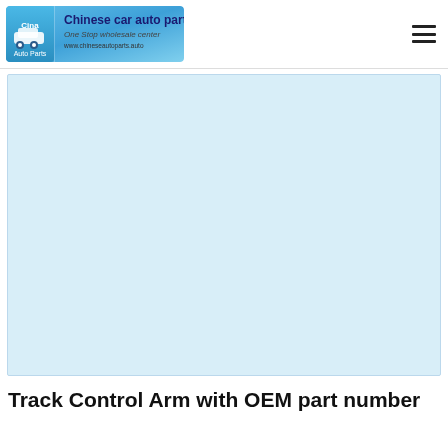[Figure (logo): Chinese Car Auto Parts logo banner with car icon, text 'Chinese car auto parts', subtitle 'One Stop Wholesale center' and website URL]
[Figure (photo): Large white/light blue rectangular image placeholder for a product photo]
Track Control Arm with OEM part number